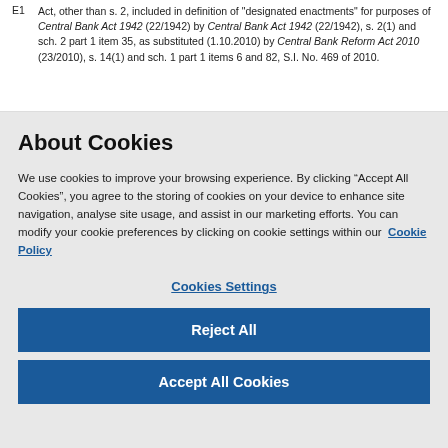E1 Act, other than s. 2, included in definition of "designated enactments" for purposes of Central Bank Act 1942 (22/1942) by Central Bank Act 1942 (22/1942), s. 2(1) and sch. 2 part 1 item 35, as substituted (1.10.2010) by Central Bank Reform Act 2010 (23/2010), s. 14(1) and sch. 1 part 1 items 6 and 82, S.I. No. 469 of 2010.
About Cookies
We use cookies to improve your browsing experience. By clicking “Accept All Cookies”, you agree to the storing of cookies on your device to enhance site navigation, analyse site usage, and assist in our marketing efforts. You can modify your cookie preferences by clicking on cookie settings within our Cookie Policy
Cookies Settings
Reject All
Accept All Cookies